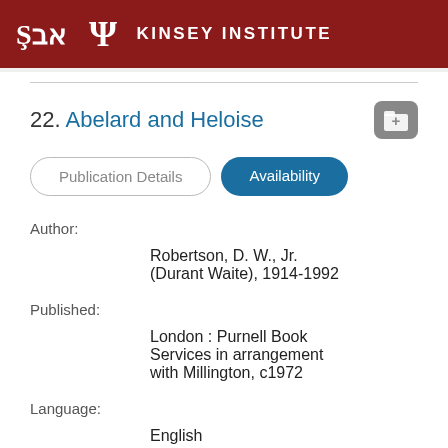KINSEY INSTITUTE
22. Abelard and Heloise
Publication Details | Availability
Author: Robertson, D. W., Jr. (Durant Waite), 1914-1992
Published: London : Purnell Book Services in arrangement with Millington, c1972
Language: English
Format: